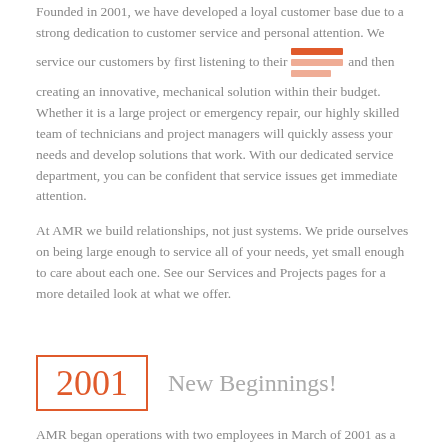Founded in 2001, we have developed a loyal customer base due to a strong dedication to customer service and personal attention. We service our customers by first listening to their needs and then creating an innovative, mechanical solution within their budget. Whether it is a large project or emergency repair, our highly skilled team of technicians and project managers will quickly assess your needs and develop solutions that work. With our dedicated service department, you can be confident that service issues get immediate attention.
At AMR we build relationships, not just systems. We pride ourselves on being large enough to service all of your needs, yet small enough to care about each one. See our Services and Projects pages for a more detailed look at what we offer.
2001  New Beginnings!
AMR began operations with two employees in March of 2001 as a commercial, industrial, institutional and agricultural service and preventive maintenance mechanical contractor in Western